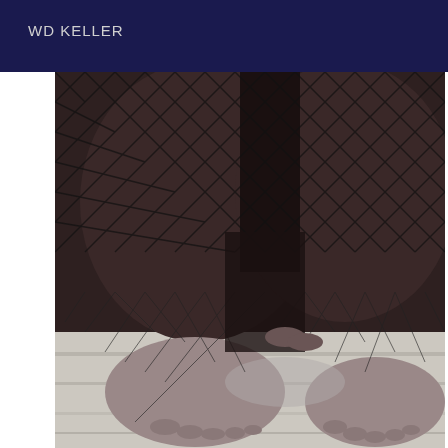WD KELLER
[Figure (photo): Close-up photograph of a person wearing black fishnet stockings/bodysuit, crouching down on a light-colored wooden floor, showing legs and feet covered in fishnet hosiery.]